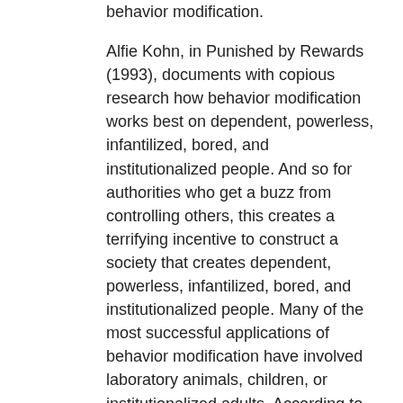behavior modification.
Alfie Kohn, in Punished by Rewards (1993), documents with copious research how behavior modification works best on dependent, powerless, infantilized, bored, and institutionalized people. And so for authorities who get a buzz from controlling others, this creates a terrifying incentive to construct a society that creates dependent, powerless, infantilized, bored, and institutionalized people. Many of the most successful applications of behavior modification have involved laboratory animals, children, or institutionalized adults. According to management theorists Richard Hackman and Greg Oldham in Work Redesign (1980), “Individuals in each of these groups are necessarily dependent on powerful others for many of the things they most want and need, and their behavior usually can be shaped with relative ease.”